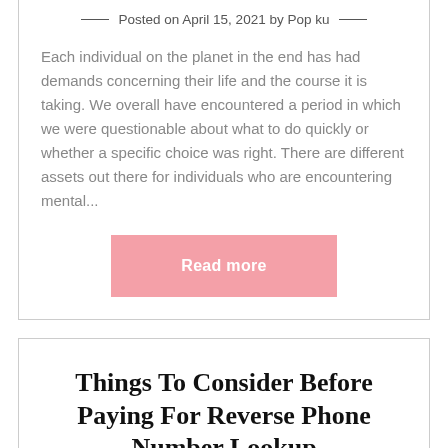Posted on April 15, 2021 by Pop ku
Each individual on the planet in the end has had demands concerning their life and the course it is taking. We overall have encountered a period in which we were questionable about what to do quickly or whether a specific choice was right. There are different assets out there for individuals who are encountering mental...
[Figure (other): Read more button in pink/salmon color]
Things To Consider Before Paying For Reverse Phone Number Lookup
Posted on March 28, 2021 by Pop ku